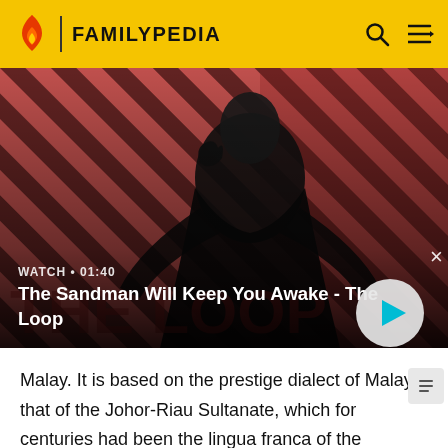FAMILYPEDIA
[Figure (screenshot): Video thumbnail showing a dark figure with a raven on shoulder against a red and dark diagonal striped background. Text overlay: WATCH • 01:40. Title: The Sandman Will Keep You Awake - The Loop. Play button on the right.]
Malay. It is based on the prestige dialect of Malay, that of the Johor-Riau Sultanate, which for centuries had been the lingua franca of the archipelago, standards of which are the official languages in Singapore, Malaysia and Brunei. Indonesian is universally taught in schools,